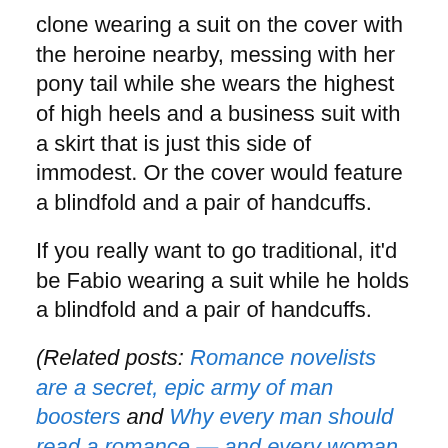clone wearing a suit on the cover with the heroine nearby, messing with her pony tail while she wears the highest of high heels and a business suit with a skirt that is just this side of immodest. Or the cover would feature a blindfold and a pair of handcuffs.
If you really want to go traditional, it'd be Fabio wearing a suit while he holds a blindfold and a pair of handcuffs.
(Related posts: Romance novelists are a secret, epic army of man boosters and Why every man should read a romance — and every woman a thriller and The best Fabio romance cover OF ALL TIME)
And if you put that different title and cover on this very same book, it wouldn't sell 40 bazillion copies and get turned into a movie. It'd be just another book in a genre that isn't exactly new and wanting for titles.